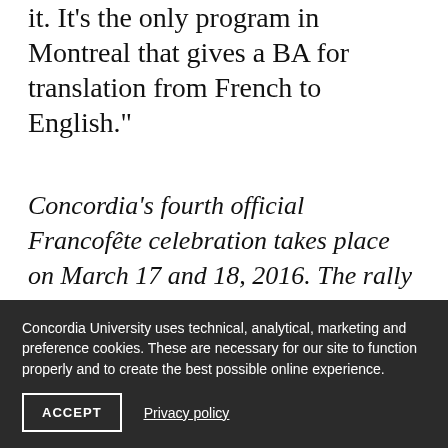it. It's the only program in Montreal that gives a BA for translation from French to English."
Concordia's fourth official Francofête celebration takes place on March 17 and 18, 2016. The rally runs from 9:30 am to 3 p.m. on Friday, March 18. Check in with the Département d'études françaises for more
Concordia University uses technical, analytical, marketing and preference cookies. These are necessary for our site to function properly and to create the best possible online experience.
ACCEPT
Privacy policy